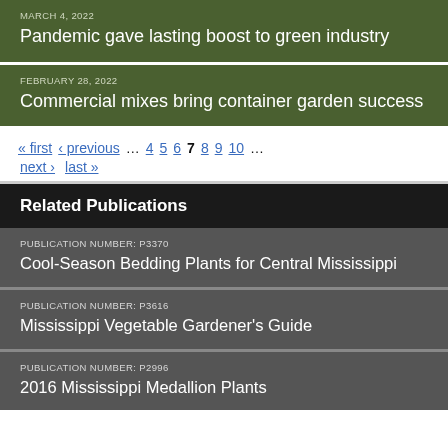MARCH 4, 2022
Pandemic gave lasting boost to green industry
FEBRUARY 28, 2022
Commercial mixes bring container garden success
« first ‹ previous … 4 5 6 7 8 9 10 … next › last »
Related Publications
PUBLICATION NUMBER: P3370
Cool-Season Bedding Plants for Central Mississippi
PUBLICATION NUMBER: P3616
Mississippi Vegetable Gardener's Guide
PUBLICATION NUMBER: P2996
2016 Mississippi Medallion Plants